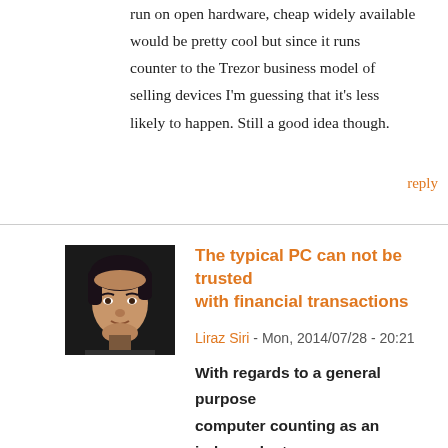run on open hardware, cheap widely available would be pretty cool but since it runs counter to the Trezor business model of selling devices I'm guessing that it's less likely to happen. Still a good idea though.
reply
[Figure (photo): Avatar photo of a young man with dark hair against a dark background]
The typical PC can not be trusted with financial transactions
Liraz Siri - Mon, 2014/07/28 - 20:21
With regards to a general purpose computer counting as an independent device: